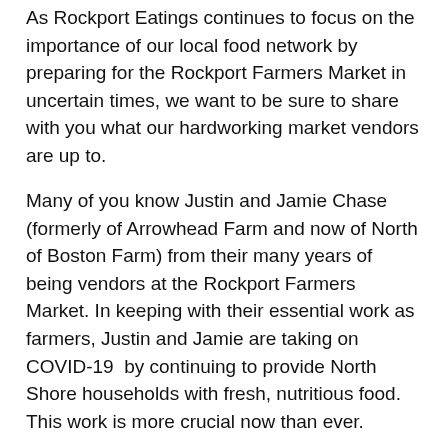As Rockport Eatings continues to focus on the importance of our local food network by preparing for the Rockport Farmers Market in uncertain times, we want to be sure to share with you what our hardworking market vendors are up to.
Many of you know Justin and Jamie Chase (formerly of Arrowhead Farm and now of North of Boston Farm) from their many years of being vendors at the Rockport Farmers Market. In keeping with their essential work as farmers, Justin and Jamie are taking on COVID-19 by continuing to provide North Shore households with fresh, nutritious food. This work is more crucial now than ever.
Justin is delivering to Rockport on Saturday, March 28th. What a great time to have food from reliable, local source delivered to Rockport! Contact North of Boston Farm by Friday, March 27th at 8pm to get your order on the truck for Saturday's delivery.